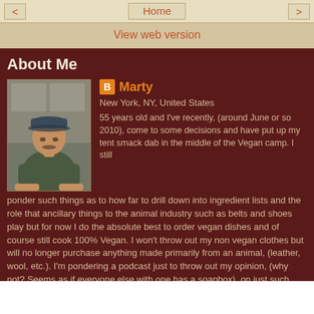< Home >
View web version
About Me
[Figure (photo): Profile photo of Marty, a middle-aged man wearing a cap, sitting at a table]
Marty
New York, NY, United States
55 years old and I've recently, (around June or so 2010), come to some decisions and have put up my tent smack dab in the middle of the Vegan camp. I still ponder such things as to how far to drill down into ingredient lists and the role that ancillary things to the animal industry such as belts and shoes play but for now I do the absolute best to order vegan dishes and of course still cook 100% Vegan. I won't throw out my non vegan clothes but will no longer purchase anything made primarily from an animal, (leather, wool, etc.). I'm pondering a podcast just to throw out my opinion, (why not? Seems as if everyone else with one has a soapbox), on just such topics as veganism, diet, lifestyle, clothing, decision making process, resources, where we get the most bang for the buck, and other such musings. Stay tuned. I refuse to eat rabbit food and salad exclusively (although find myself leaning towards Dr. Fuhrman and